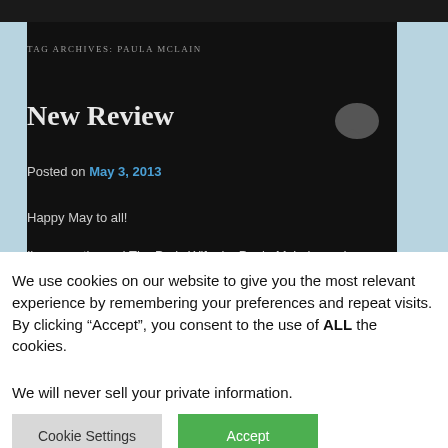TAG ARCHIVES: PAULA MCLAIN
New Review
Posted on May 3, 2013
Happy May to all!
I've recently read The Paris Wife, by Paula McLain, and
We use cookies on our website to give you the most relevant experience by remembering your preferences and repeat visits. By clicking “Accept”, you consent to the use of ALL the cookies. We will never sell your private information.